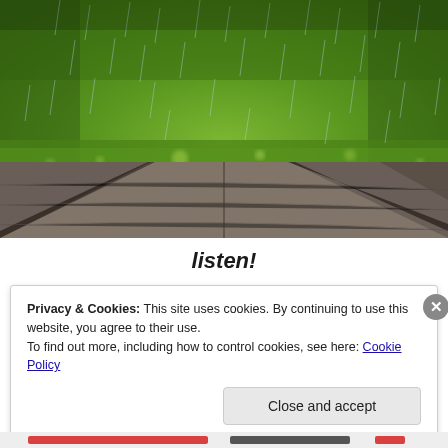[Figure (photo): Photograph of rain falling on a wooden deck with green grass in the background, bokeh effect, outdoor scene with raindrops visible]
listen!
Privacy & Cookies: This site uses cookies. By continuing to use this website, you agree to their use.
To find out more, including how to control cookies, see here: Cookie Policy
Close and accept